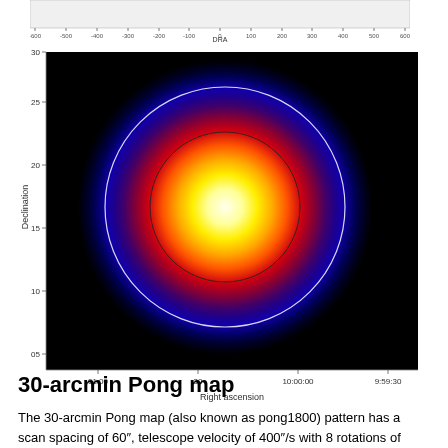[Figure (continuous-plot): Partial top strip of a scatter/density plot showing DRA axis labels: -600, -500, -400, -300, -200, -100, 0, 100, 200, 300, 400, 500, 600, with x-axis label 'DRA']
[Figure (continuous-plot): Astronomical heat-map image of a 30-arcmin Pong scan pattern. The image shows a roughly circular region with a black background (outside the scanned field), transitioning through deep blue, purple, red-orange, and yellow-white at the center, indicating increasing intensity/coverage. Two concentric circular contour lines are overlaid: a white circle and a smaller black/dark circle near the center. Y-axis labeled 'Declination' with tick marks from 05 to 30. X-axis labeled 'Right ascension' with ticks at 01:00, 30, 10:00:00, 9:59:30.]
30-arcmin Pong map
The 30-arcmin Pong map (also known as pong1800) pattern has a scan spacing of 60″, telescope velocity of 400″/s with 8 rotations of